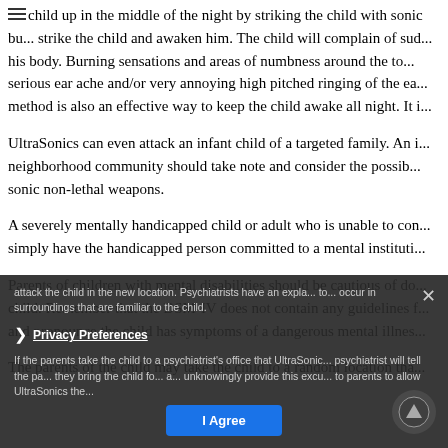child up in the middle of the night by striking the child with sonic bu... strike the child and awaken him. The child will complain of sud... his body. Burning sensations and areas of numbness around the to... serious ear ache and/or very annoying high pitched ringing of the ea... method is also an effective way to keep the child awake all night. It i...
UltraSonics can even attack an infant child of a targeted family. An i... neighborhood community should take note and consider the possib... sonic non-lethal weapons.
A severely mentally handicapped child or adult who is unable to con... simply have the handicapped person committed to a mental instituti...
Parents of children with mental disabilities should be cautious of do... child. Remember that the DSM-IV does not contain any guidelines f... and pronounce the child has symptoms of a dangerous mental illnes...
The parents of the child may take the child to a random location tha... attack the child in the new location. Psychiatrists have an expla... to... occur in surroundings that are familiar to the child.
If the parents take the child to a psychiatrist's office that UltraSonic... psychiatrist will tell the pa... they bring the child fo... a... unknowingly provide this excu... to parents to allow UltraSonics the...